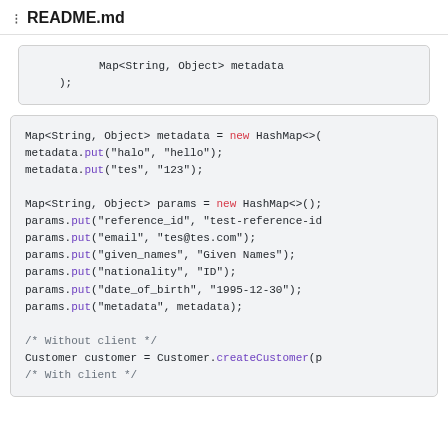README.md
[Figure (screenshot): Code snippet showing Map<String, Object> metadata and );]
[Figure (screenshot): Java code block showing metadata HashMap creation, params HashMap with put calls for reference_id, email, given_names, nationality, date_of_birth, metadata, then Customer.createCustomer call]